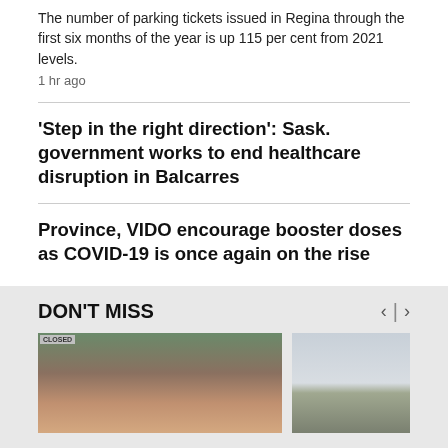The number of parking tickets issued in Regina through the first six months of the year is up 115 per cent from 2021 levels.
1 hr ago
'Step in the right direction': Sask. government works to end healthcare disruption in Balcarres
Province, VIDO encourage booster doses as COVID-19 is once again on the rise
DON'T MISS
[Figure (photo): Photo of a woman standing outside a building with a no-smoking sign, smiling]
[Figure (photo): Photo of a landscape with water and distant land]